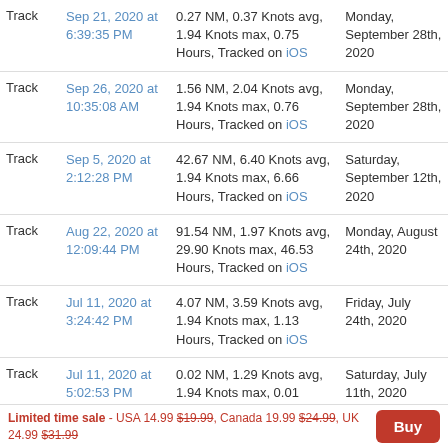| Type | Date | Details | End Date |
| --- | --- | --- | --- |
| Track | Sep 21, 2020 at 6:39:35 PM | 0.27 NM, 0.37 Knots avg, 1.94 Knots max, 0.75 Hours, Tracked on iOS | Monday, September 28th, 2020 |
| Track | Sep 26, 2020 at 10:35:08 AM | 1.56 NM, 2.04 Knots avg, 1.94 Knots max, 0.76 Hours, Tracked on iOS | Monday, September 28th, 2020 |
| Track | Sep 5, 2020 at 2:12:28 PM | 42.67 NM, 6.40 Knots avg, 1.94 Knots max, 6.66 Hours, Tracked on iOS | Saturday, September 12th, 2020 |
| Track | Aug 22, 2020 at 12:09:44 PM | 91.54 NM, 1.97 Knots avg, 29.90 Knots max, 46.53 Hours, Tracked on iOS | Monday, August 24th, 2020 |
| Track | Jul 11, 2020 at 3:24:42 PM | 4.07 NM, 3.59 Knots avg, 1.94 Knots max, 1.13 Hours, Tracked on iOS | Friday, July 24th, 2020 |
| Track | Jul 11, 2020 at 5:02:53 PM | 0.02 NM, 1.29 Knots avg, 1.94 Knots max, 0.01 Hours. Tracked on iOS | Saturday, July 11th, 2020 |
Limited time sale - USA 14.99 $19.99, Canada 19.99 $24.99, UK 24.99 $31.99  [Buy]